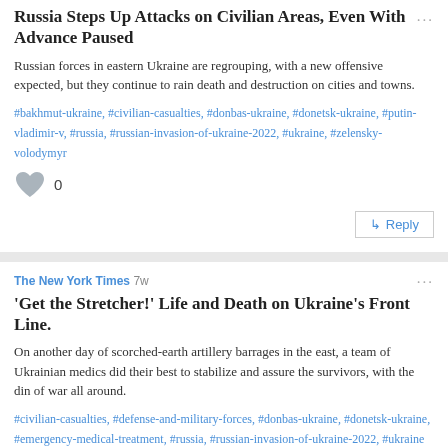Russia Steps Up Attacks on Civilian Areas, Even With Advance Paused
Russian forces in eastern Ukraine are regrouping, with a new offensive expected, but they continue to rain death and destruction on cities and towns.
#bakhmut-ukraine, #civilian-casualties, #donbas-ukraine, #donetsk-ukraine, #putin-vladimir-v, #russia, #russian-invasion-of-ukraine-2022, #ukraine, #zelensky-volodymyr
0
Reply
The New York Times 7w
'Get the Stretcher!' Life and Death on Ukraine's Front Line.
On another day of scorched-earth artillery barrages in the east, a team of Ukrainian medics did their best to stabilize and assure the survivors, with the din of war all around.
#civilian-casualties, #defense-and-military-forces, #donbas-ukraine, #donetsk-ukraine, #emergency-medical-treatment, #russia, #russian-invasion-of-ukraine-2022, #ukraine
0
Reply